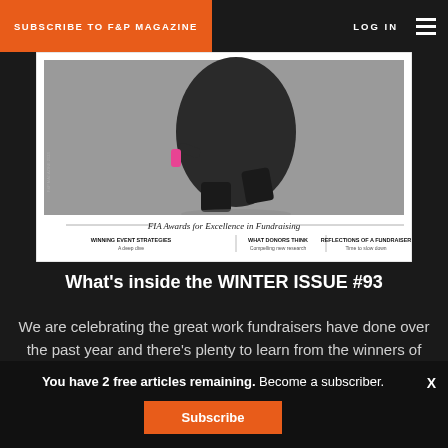SUBSCRIBE TO F&P MAGAZINE  LOG IN
[Figure (photo): Magazine cover of F&P showing a runner in black athletic wear holding a pink water bottle, with text 'FIA Awards for Excellence in Fundraising', sections: WINNING EVENT STRATEGIES A deep dive, WHAT DONORS THINK Compelling new research, REFLECTIONS OF A FUNDRAISER Time to slow down]
What's inside the WINTER ISSUE #93
We are celebrating the great work fundraisers have done over the past year and there's plenty to learn from the winners of the FIA Excellence
You have 2 free articles remaining. Become a subscriber.
Subscribe